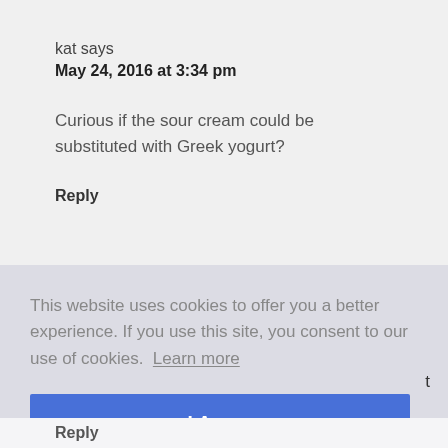kat says
May 24, 2016 at 3:34 pm
Curious if the sour cream could be substituted with Greek yogurt?
Reply
This website uses cookies to offer you a better experience. If you use this site, you consent to our use of cookies.  Learn more
I Agree
t
Reply